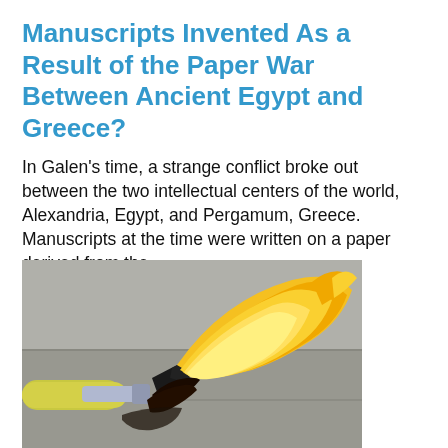Manuscripts Invented As a Result of the Paper War Between Ancient Egypt and Greece?
In Galen's time, a strange conflict broke out between the two intellectual centers of the world, Alexandria, Egypt, and Pergamum, Greece. Manuscripts at the time were written on a paper derived from the...
[Figure (photo): A photograph of a piece of paper or material being set on fire by a blowtorch or gas burner, with large yellow-orange flames visible against a gray concrete background.]